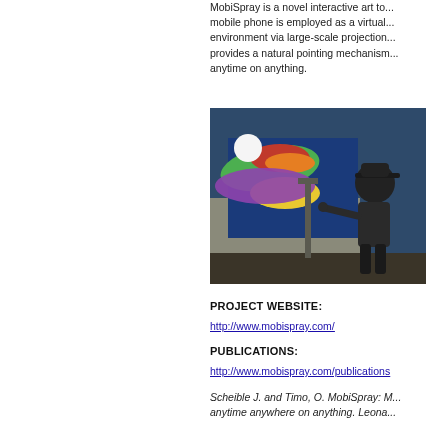MobiSpray is a novel interactive art tool where a mobile phone is employed as a virtual spray can to paint an environment via large-scale projection. MobiSpray provides a natural pointing mechanism to spray paint anytime on anything.
[Figure (photo): Person in military-style cap pointing at a large colorful graffiti-style projection on a building at night. The projection shows colorful curved shapes in green, yellow, red, orange, purple, and white on a blue background.]
PROJECT WEBSITE:
http://www.mobispray.com/
PUBLICATIONS:
http://www.mobispray.com/publications
Scheible J. and Timo, O. MobiSpray: M... anytime anywhere on anything. Leona...